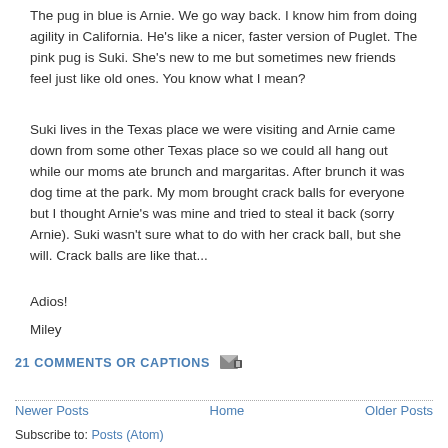The pug in blue is Arnie. We go way back. I know him from doing agility in California. He's like a nicer, faster version of Puglet. The pink pug is Suki. She's new to me but sometimes new friends feel just like old ones. You know what I mean?
Suki lives in the Texas place we were visiting and Arnie came down from some other Texas place so we could all hang out while our moms ate brunch and margaritas. After brunch it was dog time at the park. My mom brought crack balls for everyone but I thought Arnie's was mine and tried to steal it back (sorry Arnie). Suki wasn't sure what to do with her crack ball, but she will. Crack balls are like that...
Adios!
Miley
21 COMMENTS OR CAPTIONS
Newer Posts | Home | Older Posts
Subscribe to: Posts (Atom)